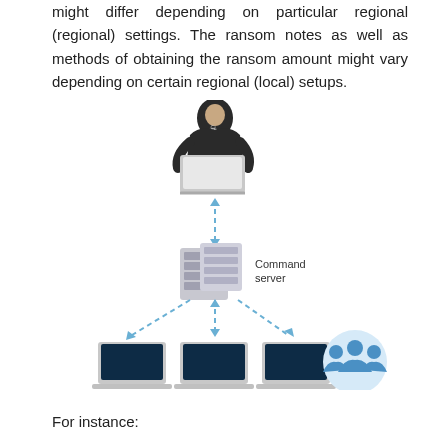might differ depending on particular regional (regional) settings. The ransom notes as well as methods of obtaining the ransom amount might vary depending on certain regional (local) setups.
[Figure (flowchart): Diagram showing a hacker (hooded figure with laptop) connected via double-headed dashed arrow to a Command server (rack server graphic), which in turn connects via dashed arrows to three laptops arranged below. A group of people icon appears to the right of the laptops.]
For instance: